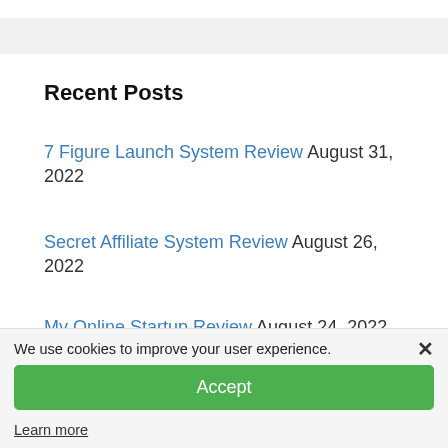Recent Posts
7 Figure Launch System Review August 31, 2022
Secret Affiliate System Review August 26, 2022
My Online Startup Review August 24, 2022
We use cookies to improve your user experience. ×
Accept
Learn more